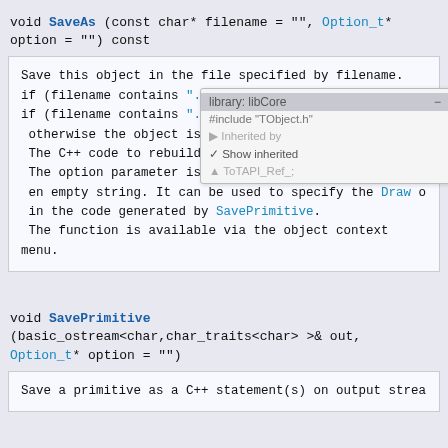void SaveAs (const char* filename = "", Option_t* option = "") const
Save this object in the file specified by filename.
if (filename contains ".root" the object is saved in f
if (filename contains ".xml"  the object is saved in f
 otherwise the object is written to filename as a CINT
 The C++ code to rebuild this object is generated via
 The option parameter is passed to SavePrimitive. By d
 en empty string. It can be used to specify the Draw o
 in the code generated by SavePrimitive.
 The function is available via the object context menu.
void SavePrimitive (basic_ostream<char,char_traits<char> >& out, Option_t* option = "")
Save a primitive as a C++ statement(s) on output strea
void SetDrawOption (Option_t* option = "")